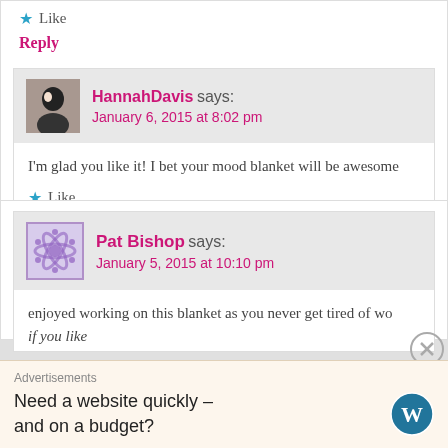★ Like
Reply
HannahDavis says:
January 6, 2015 at 8:02 pm
I'm glad you like it! I bet your mood blanket will be awesome
★ Like
Reply
Pat Bishop says:
January 5, 2015 at 10:10 pm
enjoyed working on this blanket as you never get tired of wo
if you like
Advertisements
Need a website quickly – and on a budget?